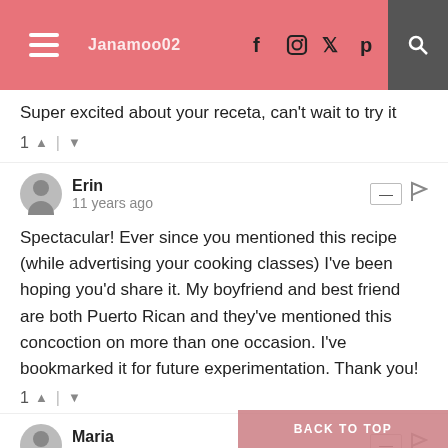Janamoo02 — blog header with social icons
Super excited about your receta, can't wait to try it
1 ▲ | ▼
Erin
11 years ago
Spectacular! Ever since you mentioned this recipe (while advertising your cooking classes) I've been hoping you'd share it. My boyfriend and best friend are both Puerto Rican and they've mentioned this concoction on more than one occasion. I've bookmarked it for future experimentation. Thank you!
1 ▲ | ▼
Maria
11 years ago
Thanks for sharing! I have saved your recipe. There are definitely many versions of coquito, and I love learning them all. Have you heard of choquito? (coquito wit Daisy Martinez). I haven't tried it yet, it almost feels sacrilegious to do so, but I like knowing that the possibilities